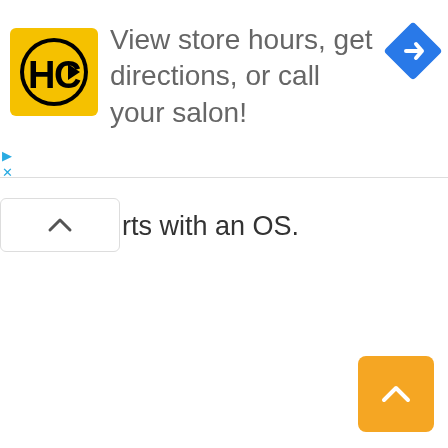[Figure (screenshot): Advertisement banner: HC (Haircut) logo on yellow background, text 'View store hours, get directions, or call your salon!', blue navigation/turn icon on right]
rts with an OS.
[Figure (screenshot): Orange scroll-to-top button with upward chevron arrow in bottom right corner]